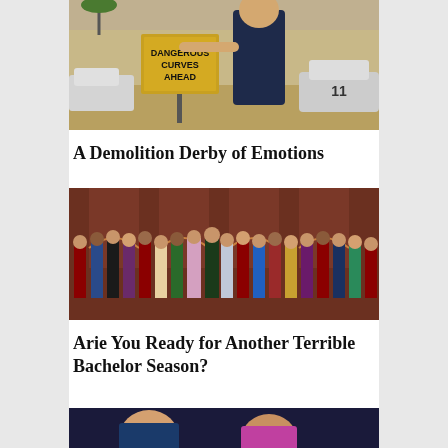[Figure (photo): Man standing next to a yellow 'DANGEROUS CURVES AHEAD' road sign, with a car numbered 11 in the background at what appears to be a demolition derby venue]
A Demolition Derby of Emotions
[Figure (photo): Group photo of The Bachelor cast — a man in a suit surrounded by many women in formal dresses, posed in front of a mansion entrance]
Arie You Ready for Another Terrible Bachelor Season?
[Figure (photo): Partial view of a third article image, showing people in a dark setting, partially cut off at the bottom of the page]